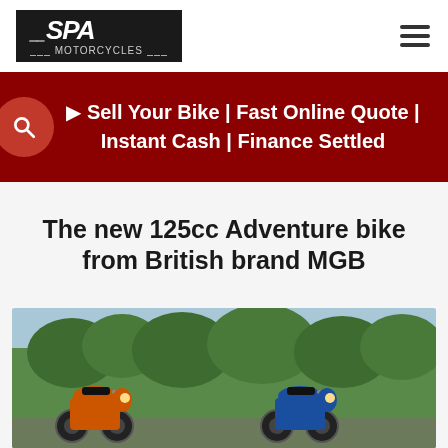SPA Motorcycles
Sell Your Bike | Fast Online Quote | Instant Cash | Finance Settled
The new 125cc Adventure bike from British brand MGB
[Figure (photo): Two 125cc adventure motorcycles (one orange/black, one blue) parked outdoors with trees in the background]